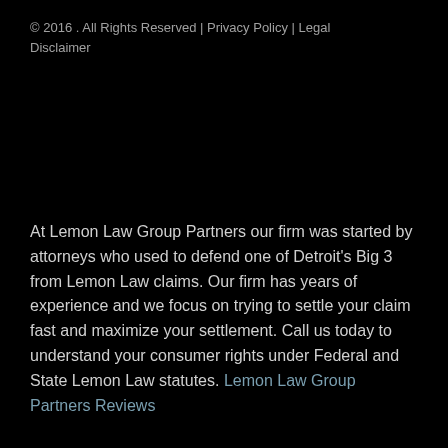© 2016 . All Rights Reserved | Privacy Policy | Legal Disclaimer
At Lemon Law Group Partners our firm was started by attorneys who used to defend one of Detroit's Big 3 from Lemon Law claims. Our firm has years of experience and we focus on trying to settle your claim fast and maximize your settlement. Call us today to understand your consumer rights under Federal and State Lemon Law statutes. Lemon Law Group Partners Reviews